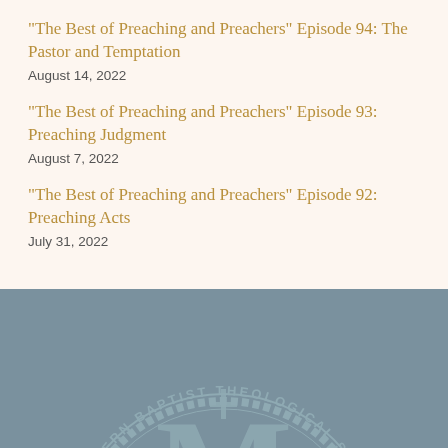“The Best of Preaching and Preachers” Episode 94: The Pastor and Temptation
August 14, 2022
“The Best of Preaching and Preachers” Episode 93: Preaching Judgment
August 7, 2022
“The Best of Preaching and Preachers” Episode 92: Preaching Acts
July 31, 2022
[Figure (logo): Midwestern Baptist Theological Seminary seal/logo rendered in grey on a steel-blue background, showing the circular text 'MIDWESTERN BAPTIST THEOLOGICAL SEMINARY' around a large letter M with a cross.]